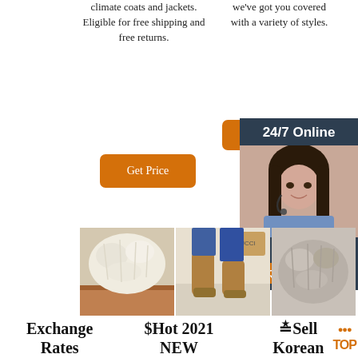climate coats and jackets. Eligible for free shipping and free returns.
we've got you covered with a variety of styles.
[Figure (other): Orange button top right (partially visible)]
[Figure (other): Get Price orange button, column 2]
[Figure (other): Get Price orange button, column 1]
[Figure (other): 24/7 Online sidebar panel with customer service representative photo, 'Click here for free chat!' text and QUOTATION orange button]
[Figure (photo): White fluffy fur textile on wooden surface]
[Figure (photo): Brown UGG-style boots with Gucci bag and jeans]
[Figure (photo): Grey fluffy fur textile]
Exchange Rates
World currency exchange rates and currency exchange
$Hot 2021 NEW SG908 GPS Drone with 4K
≛Sell Korean Ader Error Sweatpants High